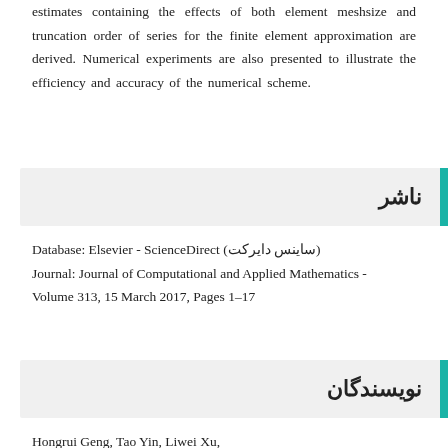estimates containing the effects of both element meshsize and truncation order of series for the finite element approximation are derived. Numerical experiments are also presented to illustrate the efficiency and accuracy of the numerical scheme.
ناشر
Database: Elsevier - ScienceDirect (ساینس دایرکت)
Journal: Journal of Computational and Applied Mathematics - Volume 313, 15 March 2017, Pages 1–17
نویسندگان
Hongrui Geng, Tao Yin, Liwei Xu,